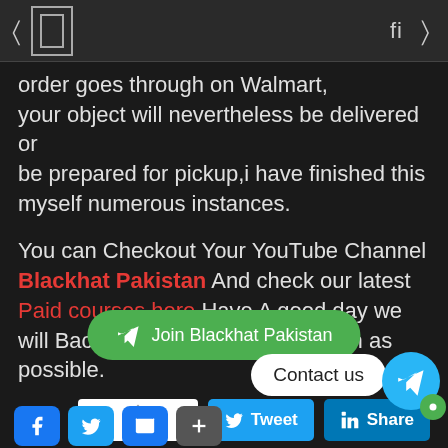Navigation header with icons
order goes through on Walmart, your object will nevertheless be delivered or be prepared for pickup,i have finished this myself numerous instances.
You can Checkout Your YouTube Channel Blackhat Pakistan And check our latest Paid courses here Have A good day we will Back with A new Article as soon as possible.
[Figure (screenshot): Social share buttons row: loading spinner button, Tweet button, LinkedIn Share button]
[Figure (screenshot): Join Blackhat Pakistan green Telegram button, Contact us white bubble, Telegram circle icon, green dot icon, bottom social media icons (Facebook, Twitter, email, plus)]